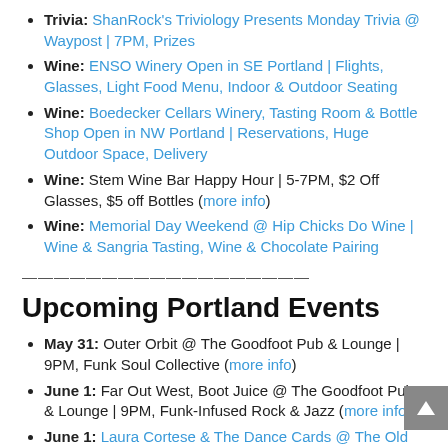Trivia: ShanRock's Triviology Presents Monday Trivia @ Waypost | 7PM, Prizes
Wine: ENSO Winery Open in SE Portland | Flights, Glasses, Light Food Menu, Indoor & Outdoor Seating
Wine: Boedecker Cellars Winery, Tasting Room & Bottle Shop Open in NW Portland | Reservations, Huge Outdoor Space, Delivery
Wine: Stem Wine Bar Happy Hour | 5-7PM, $2 Off Glasses, $5 off Bottles (more info)
Wine: Memorial Day Weekend @ Hip Chicks Do Wine | Wine & Sangria Tasting, Wine & Chocolate Pairing
————————————————
Upcoming Portland Events
May 31: Outer Orbit @ The Goodfoot Pub & Lounge | 9PM, Funk Soul Collective (more info)
June 1: Far Out West, Boot Juice @ The Goodfoot Pub & Lounge | 9PM, Funk-Infused Rock & Jazz (more info)
June 1: Laura Cortese & The Dance Cards @ The Old Church Concert Hall | Folk, Swing (Win Tickets, $34)